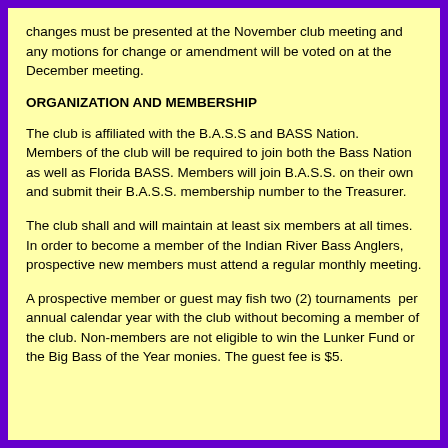changes must be presented at the November club meeting and any motions for change or amendment will be voted on at the December meeting.
ORGANIZATION AND MEMBERSHIP
The club is affiliated with the B.A.S.S and BASS Nation.  Members of the club will be required to join both the Bass Nation as well as Florida BASS. Members will join B.A.S.S. on their own and submit their B.A.S.S. membership number to the Treasurer.
The club shall and will maintain at least six members at all times. In order to become a member of the Indian River Bass Anglers, prospective new members must attend a regular monthly meeting.
A prospective member or guest may fish two (2) tournaments  per annual calendar year with the club without becoming a member of the club. Non-members are not eligible to win the Lunker Fund or the Big Bass of the Year monies. The guest fee is $5.